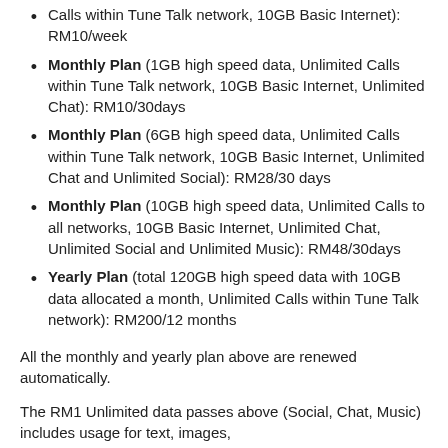Monthly Plan (1GB high speed data, Unlimited Calls within Tune Talk network, 10GB Basic Internet, Unlimited Chat): RM10/30days
Monthly Plan (6GB high speed data, Unlimited Calls within Tune Talk network, 10GB Basic Internet, Unlimited Chat and Unlimited Social): RM28/30 days
Monthly Plan (10GB high speed data, Unlimited Calls to all networks, 10GB Basic Internet, Unlimited Chat, Unlimited Social and Unlimited Music): RM48/30days
Yearly Plan (total 120GB high speed data with 10GB data allocated a month, Unlimited Calls within Tune Talk network): RM200/12 months
All the monthly and yearly plan above are renewed automatically.
The RM1 Unlimited data passes above (Social, Chat, Music) includes usage for text, images,